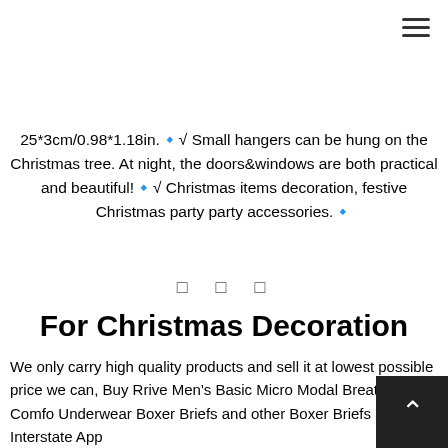≡ (hamburger menu icon)
25*3cm/0.98*1.18in.🔹√ Small hangers can be hung on the Christmas tree. At night, the doors&windows are both practical and beautiful!🔹√ Christmas items decoration, festive Christmas party party accessories.🔹
□ □ □
For Christmas Decoration Christmas Tree Hanging Embellishments Snowflake Santa Boots Bell Ornaments Wateralone 100 Pcs Wooden Christmas Hanging Ornaments DIY Christmas Tree Ornaments
We only carry high quality products and sell it at lowest possible price we can, Buy Rrive Men's Basic Micro Modal Breathable Comfo Underwear Boxer Briefs and other Boxer Briefs at, Interstate App